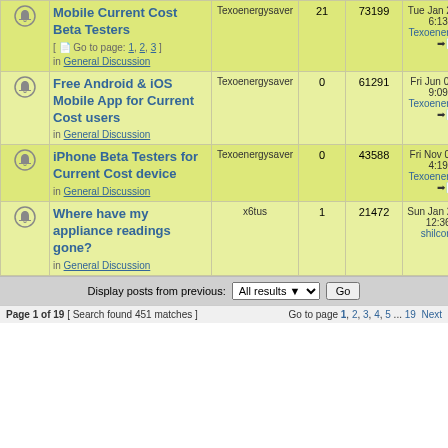|  | Topic | Author | Replies | Views | Last post |
| --- | --- | --- | --- | --- | --- |
| [icon] | Mobile Current Cost Beta Testers [Go to page: 1, 2, 3] in General Discussion | Texoenergysaver | 21 | 73199 | Tue Jan 28, 2014 6:13 am Texoenergysaver |
| [icon] | Free Android & iOS Mobile App for Current Cost users in General Discussion | Texoenergysaver | 0 | 61291 | Fri Jun 06, 2014 9:09 am Texoenergysaver |
| [icon] | iPhone Beta Testers for Current Cost device in General Discussion | Texoenergysaver | 0 | 43588 | Fri Nov 01, 2013 4:19 am Texoenergysaver |
| [icon] | Where have my appliance readings gone? in General Discussion | x6tus | 1 | 21472 | Sun Jan 26, 2014 12:36 pm shilcor |
Display posts from previous: All results Go
Page 1 of 19 [ Search found 451 matches ]   Go to page 1, 2, 3, 4, 5 ... 19  Next